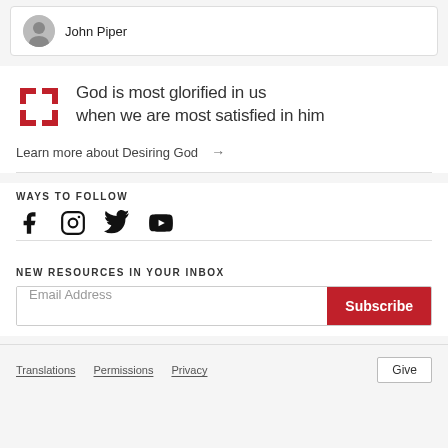John Piper
God is most glorified in us when we are most satisfied in him
Learn more about Desiring God →
WAYS TO FOLLOW
[Figure (illustration): Social media icons: Facebook, Instagram, Twitter, YouTube]
NEW RESOURCES IN YOUR INBOX
Email Address
Subscribe
Translations  Permissions  Privacy  Give